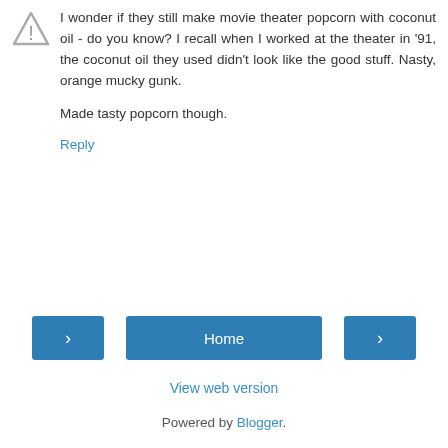[Figure (illustration): Warning/alert triangle icon (grey) used as user avatar]
I wonder if they still make movie theater popcorn with coconut oil - do you know? I recall when I worked at the theater in '91, the coconut oil they used didn't look like the good stuff. Nasty, orange mucky gunk.

Made tasty popcorn though.
Reply
Home
View web version
Powered by Blogger.